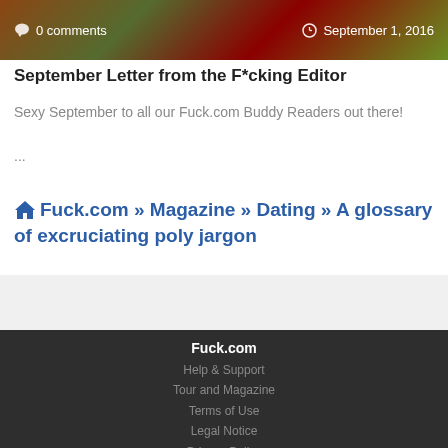[Figure (photo): Banner image showing outdoor fall/autumn scenery with reddish-brown tones, overlaid with comment count '0 comments' on the left and date 'September 1, 2016' on the right in white text]
September Letter from the F*cking Editor
Sexy September to all our Fuck.com Buddy Readers out there!
...
🏠 Fuck.com » Magazine » Dating » A glossary of excruciating poly jargon
Fuck.com
Help & Support
Tour and Magazine
Terms of Use
Legal Notice
Privacy Policy
2257 Statement
I forgot my password